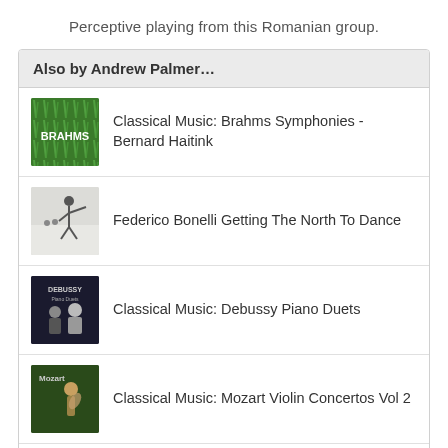Perceptive playing from this Romanian group.
Also by Andrew Palmer…
Classical Music: Brahms Symphonies - Bernard Haitink
Federico Bonelli Getting The North To Dance
Classical Music: Debussy Piano Duets
Classical Music: Mozart Violin Concertos Vol 2
Classical Music: Vaughan